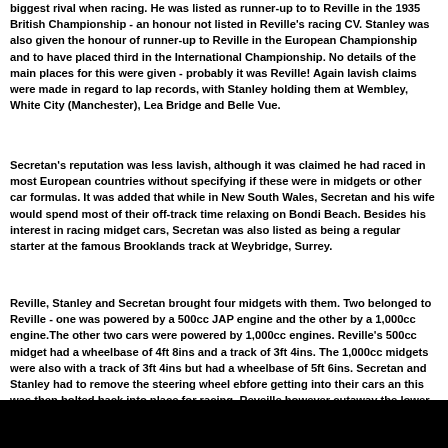biggest rival when racing. He was listed as runner-up to to Reville in the 1935 British Championship - an honour not listed in Reville's racing CV. Stanley was also given the honour of runner-up to Reville in the European Championship and to have placed third in the International Championship. No details of the main places for this were given - probably it was Reville! Again lavish claims were made in regard to lap records, with Stanley holding them at Wembley, White City (Manchester), Lea Bridge and Belle Vue.
Secretan's reputation was less lavish, although it was claimed he had raced in most European countries without specifying if these were in midgets or other car formulas. It was added that while in New South Wales, Secretan and his wife would spend most of their off-track time relaxing on Bondi Beach. Besides his interest in racing midget cars, Secretan was also listed as being a regular starter at the famous Brooklands track at Weybridge, Surrey.
Reville, Stanley and Secretan brought four midgets with them. Two belonged to Reville - one was powered by a 500cc JAP engine and the other by a 1,000cc engine.The other two cars were powered by 1,000cc engines. Reville's 500cc midget had a wheelbase of 4ft 8ins and a track of 3ft 4ins. The 1,000cc midgets were also with a track of 3ft 4ins but had a wheelbase of 5ft 6ins. Secretan and Stanley had to remove the steering wheel ebfore getting into their cars an this was then bolted back into place for racing. Reveille however cutaway the lower half of his steering wheel to avoid that problem.